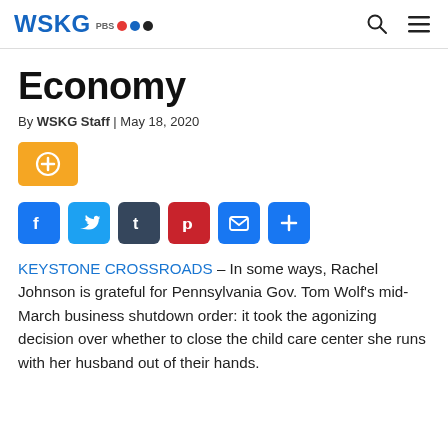WSKG PBS NPR [header with search and menu icons]
Economy
By WSKG Staff | May 18, 2020
[Figure (other): Orange add/plus button]
[Figure (other): Social share buttons: Facebook, Twitter, Tumblr, Pinterest, Email, Plus]
KEYSTONE CROSSROADS – In some ways, Rachel Johnson is grateful for Pennsylvania Gov. Tom Wolf's mid-March business shutdown order: it took the agonizing decision over whether to close the child care center she runs with her husband out of their hands.